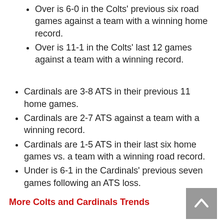Over is 6-0 in the Colts' previous six road games against a team with a winning home record.
Over is 11-1 in the Colts' last 12 games against a team with a winning record.
Cardinals are 3-8 ATS in their previous 11 home games.
Cardinals are 2-7 ATS against a team with a winning record.
Cardinals are 1-5 ATS in their last six home games vs. a team with a winning road record.
Under is 6-1 in the Cardinals' previous seven games following an ATS loss.
More Colts and Cardinals Trends
Tampa Bay Buccaneers (-10, 43) at Carolina Panthers